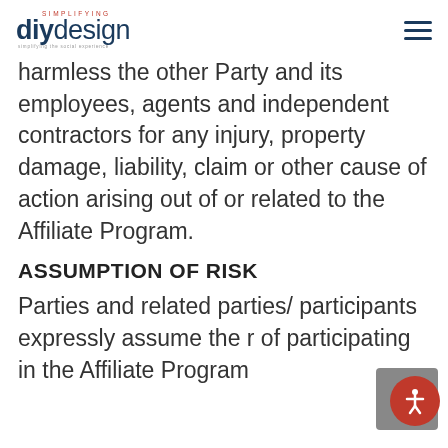diydesign
harmless the other Party and its employees, agents and independent contractors for any injury, property damage, liability, claim or other cause of action arising out of or related to the Affiliate Program.
ASSUMPTION OF RISK
Parties and related parties/ participants expressly assume the r of participating in the Affiliate Program